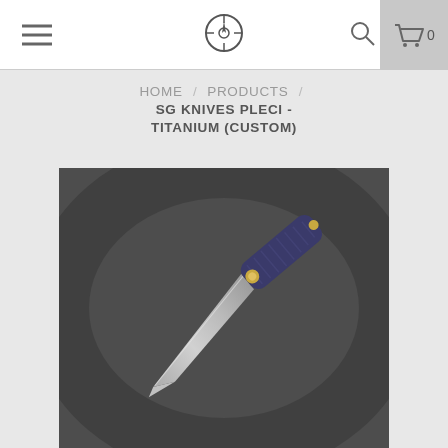Navigation bar with hamburger menu, logo, search icon, and cart (0)
HOME / PRODUCTS / SG KNIVES PLECI - TITANIUM (CUSTOM)
[Figure (photo): Photograph of a folding knife with a silver blade and blue/dark handle with gold pivot, displayed open on a dark gray background]